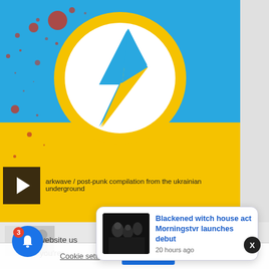[Figure (screenshot): Music website screenshot showing a Ukrainian flag-colored background (blue top, yellow bottom) with a white circle containing a blue and yellow lightning bolt logo. Red paint splatter dots on top-left. A video thumbnail with play button and caption 'darkwave / post-punk compilation from the ukrainian underground'. Below is a thumbnail strip and cookie consent bar. A notification bell with badge '3'. A popup notification shows 'Blackened witch house act Morningstvr launches debut' with '20 hours ago' timestamp and a dark photo.]